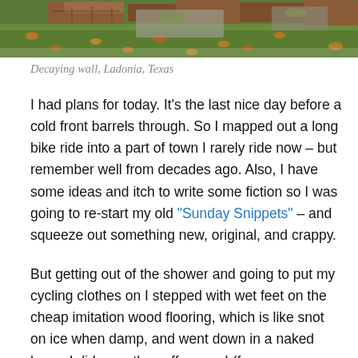[Figure (photo): Partial view of a decaying brick wall with grass and fallen autumn leaves, Ladonia, Texas]
Decaying wall, Ladonia, Texas
I had plans for today. It's the last nice day before a cold front barrels through. So I mapped out a long bike ride into a part of town I rarely ride now – but remember well from decades ago. Also, I have some ideas and itch to write some fiction so I was going to re-start my old “Sunday Snippets” – and squeeze out something new, original, and crappy.
But getting out of the shower and going to put my cycling clothes on I stepped with wet feet on the cheap imitation wood flooring, which is like snot on ice when damp, and went down in a naked heap. I did save the coffee cup I (for some unknown reason) had in my hand – throwing it into